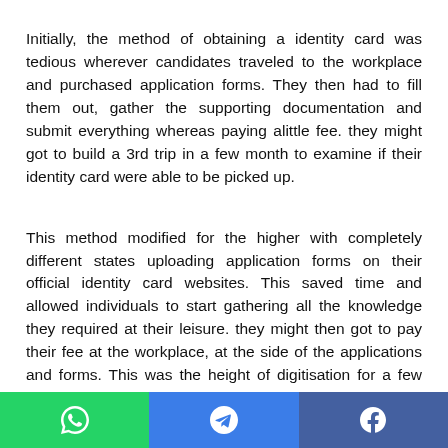Initially, the method of obtaining a identity card was tedious wherever candidates traveled to the workplace and purchased application forms. They then had to fill them out, gather the supporting documentation and submit everything whereas paying alittle fee. they might got to build a 3rd trip in a few month to examine if their identity card were able to be picked up.
This method modified for the higher with completely different states uploading application forms on their official identity card websites. This saved time and allowed individuals to start gathering all the knowledge they required at their leisure. they might then got to pay their fee at the workplace, at the side of the applications and forms. This was the height of digitisation for a few states, whereas others pushed for a